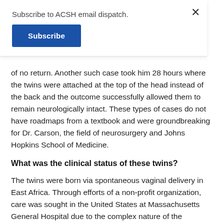Subscribe to ACSH email dispatch.
Subscribe
of no return. Another such case took him 28 hours where the twins were attached at the top of the head instead of the back and the outcome successfully allowed them to remain neurologically intact. These types of cases do not have roadmaps from a textbook and were groundbreaking for Dr. Carson, the field of neurosurgery and Johns Hopkins School of Medicine.
What was the clinical status of these twins?
The twins were born via spontaneous vaginal delivery in East Africa. Through efforts of a non-profit organization, care was sought in the United States at Massachusetts General Hospital due to the complex nature of the separation required.
They were united from the bottom tip of the sternum